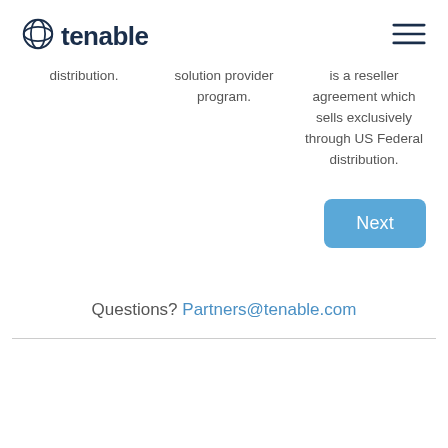tenable
distribution.
solution provider program.
is a reseller agreement which sells exclusively through US Federal distribution.
Next
Questions? Partners@tenable.com